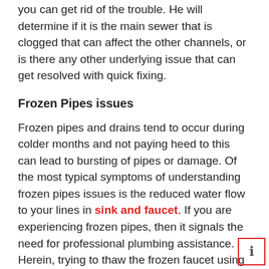you can get rid of the trouble. He will determine if it is the main sewer that is clogged that can affect the other channels, or is there any other underlying issue that can get resolved with quick fixing.
Frozen Pipes issues
Frozen pipes and drains tend to occur during colder months and not paying heed to this can lead to bursting of pipes or damage. Of the most typical symptoms of understanding frozen pipes issues is the reduced water flow to your lines in sink and faucet. If you are experiencing frozen pipes, then it signals the need for professional plumbing assistance. Herein, trying to thaw the frozen faucet using portable heaters or hair dryers before you open the faucet can resolve the issue for some time, yet it is not the complete solution. Your pipes may soon experience cracks and also end up bursting, thereby causing major faults.